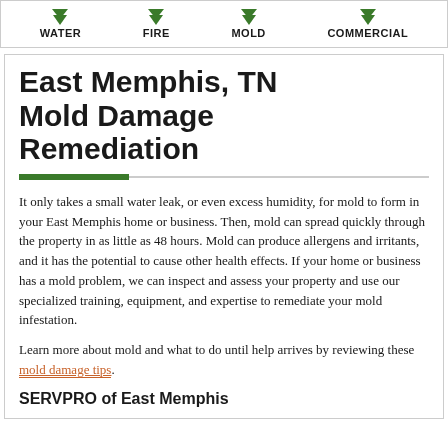WATER | FIRE | MOLD | COMMERCIAL
East Memphis, TN Mold Damage Remediation
It only takes a small water leak, or even excess humidity, for mold to form in your East Memphis home or business. Then, mold can spread quickly through the property in as little as 48 hours. Mold can produce allergens and irritants, and it has the potential to cause other health effects. If your home or business has a mold problem, we can inspect and assess your property and use our specialized training, equipment, and expertise to remediate your mold infestation.
Learn more about mold and what to do until help arrives by reviewing these mold damage tips.
SERVPRO of East Memphis